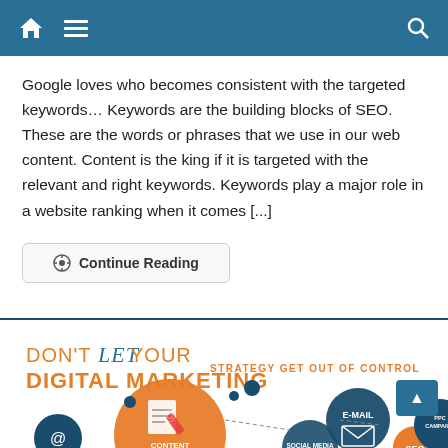[Navigation bar with home, menu, and search icons]
Google loves who becomes consistent with the targeted keywords… Keywords are the building blocks of SEO. These are the words or phrases that we use in our web content. Content is the king if it is targeted with the relevant and right keywords. Keywords play a major role in a website ranking when it comes [...]
Continue Reading
[Figure (infographic): Digital marketing infographic showing: DON'T LET YOUR DIGITAL MARKETING STRATEGY GET OUT OF CONTROL. Shows interconnected circles for CONTENT, SOCIAL MEDIA, E-MAIL, SEO, PPC CAMPAIGN with icons.]